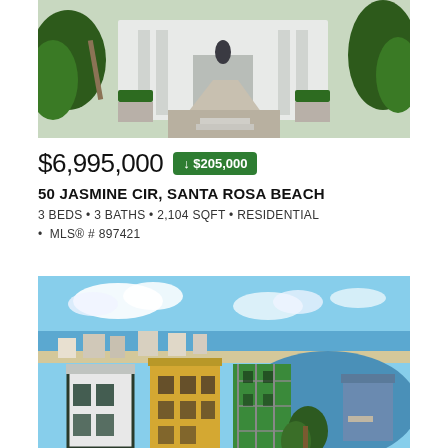[Figure (photo): Aerial/front view of a modern white luxury home with lush green landscaping, palm trees, and decorative vase at entrance]
$6,995,000 ↓ $205,000
50 JASMINE CIR, SANTA ROSA BEACH
3 BEDS • 3 BATHS • 2,104 SQFT • RESIDENTIAL • MLS® # 897421
[Figure (photo): Aerial drone photo of Santa Rosa Beach showing colorful multi-story buildings, a lake/bayou, beach, and Gulf of Mexico in the background]